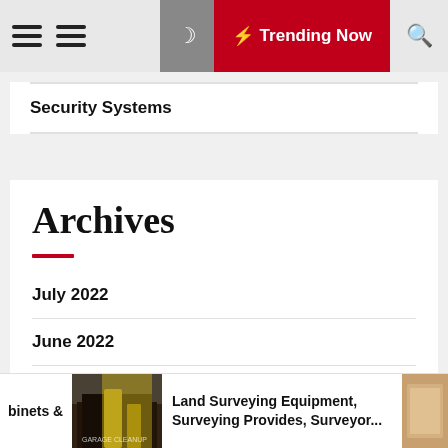Trending Now
Security Systems
Archives
July 2022
June 2022
May 2022
April 2022
binets &
Land Surveying Equipment, Surveying Provides, Surveyor...